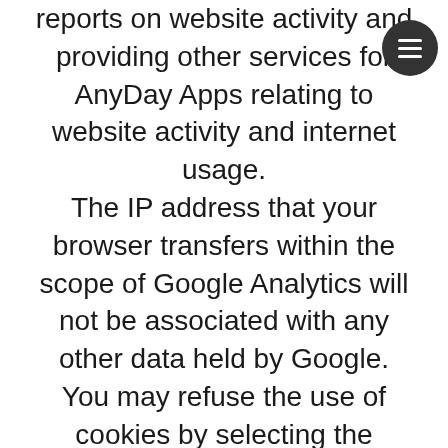reports on website activity and providing other services for AnyDay Apps relating to website activity and internet usage. The IP address that your browser transfers within the scope of Google Analytics will not be associated with any other data held by Google. You may refuse the use of cookies by selecting the appropriate settings in your browser, however please note that if you do so you may not be able to use all functions of the Website.